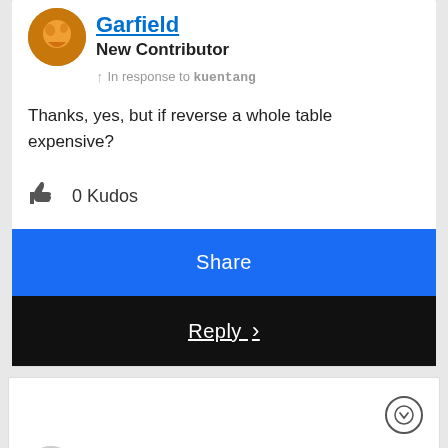Garfield
New Contributor
In response to kuentang
Thanks, yes, but if reverse a whole table expensive?
0 Kudos
Share
Reply
2016.01.06 01:43 PM